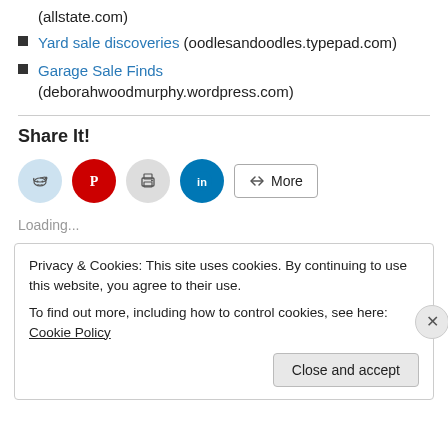(allstate.com)
Yard sale discoveries (oodlesandoodles.typepad.com)
Garage Sale Finds (deborahwoodmurphy.wordpress.com)
Share It!
[Figure (other): Social share buttons: Reddit, Pinterest, Print, LinkedIn, More]
Loading...
Privacy & Cookies: This site uses cookies. By continuing to use this website, you agree to their use. To find out more, including how to control cookies, see here: Cookie Policy
Close and accept